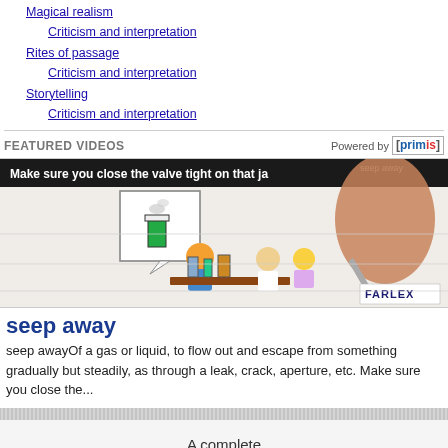Magical realism / Criticism and interpretation
Rites of passage / Criticism and interpretation
Storytelling / Criticism and interpretation
FEATURED VIDEOS   Powered by [primis]
[Figure (screenshot): Video thumbnail showing a whiteboard animation: a hand holding a pen drawing a science scene with cartoon students and lab equipment. Caption reads 'Make sure you close the valve tight on that ja...' with 'seep away' label and Farlex logo.]
seep away
seep awayOf a gas or liquid, to flow out and escape from something gradually but steadily, as through a leak, crack, aperture, etc. Make sure you close the...
A complete
English grammar reference
does not exist!
True or False?